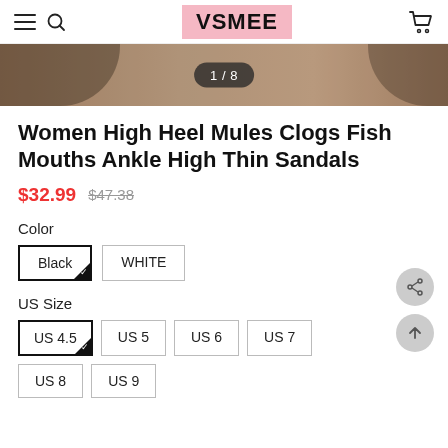VSMEE
[Figure (photo): Product image of women's high heel mule sandals, partially visible, with 1/8 image counter overlay]
Women High Heel Mules Clogs Fish Mouths Ankle High Thin Sandals
$32.99  $47.38
Color
Black (selected)
WHITE
US Size
US 4.5 (selected)
US 5
US 6
US 7
US 8
US 9